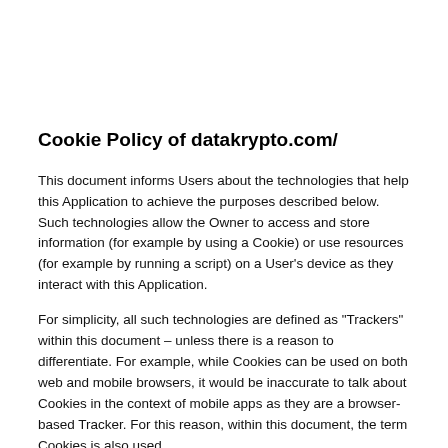Cookie Policy of datakrypto.com/
This document informs Users about the technologies that help this Application to achieve the purposes described below. Such technologies allow the Owner to access and store information (for example by using a Cookie) or use resources (for example by running a script) on a User's device as they interact with this Application.
For simplicity, all such technologies are defined as "Trackers" within this document – unless there is a reason to differentiate. For example, while Cookies can be used on both web and mobile browsers, it would be inaccurate to talk about Cookies in the context of mobile apps as they are a browser-based Tracker. For this reason, within this document, the term Cookies is also used...